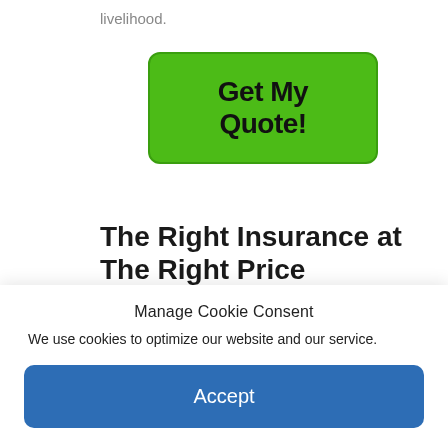livelihood.
[Figure (other): Green 'Get My Quote!' button with rounded corners and dark border]
The Right Insurance at The Right Price
We are so sure we can save you money on your trucking insurance, just for calling us at 1-888-991-2929 and will give your company a free employee
Manage Cookie Consent
We use cookies to optimize our website and our service.
[Figure (other): Blue 'Accept' button for cookie consent]